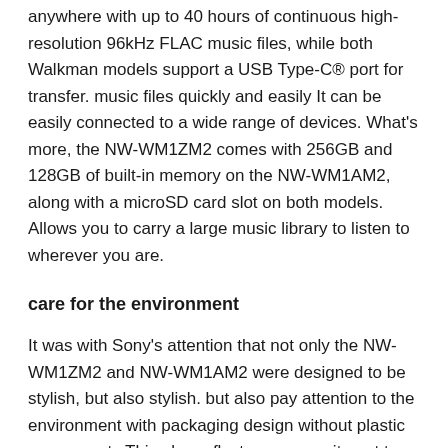anywhere with up to 40 hours of continuous high-resolution 96kHz FLAC music files, while both Walkman models support a USB Type-C® port for transfer. music files quickly and easily It can be easily connected to a wide range of devices. What's more, the NW-WM1ZM2 comes with 256GB and 128GB of built-in memory on the NW-WM1AM2, along with a microSD card slot on both models. Allows you to carry a large music library to listen to wherever you are.
care for the environment
It was with Sony's attention that not only the NW-WM1ZM2 and NW-WM1AM2 were designed to be stylish, but also stylish. but also pay attention to the environment with packaging design without plastic components This also reflects our commitment to reduce our environmental impact.